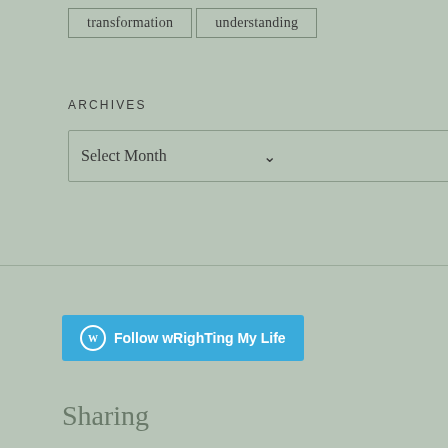transformation
understanding
ARCHIVES
Select Month
[Figure (other): Follow wRighTing My Life WordPress follow button]
Sharing